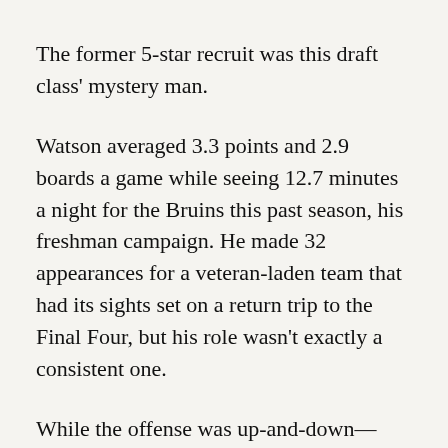The former 5-star recruit was this draft class' mystery man.
Watson averaged 3.3 points and 2.9 boards a game while seeing 12.7 minutes a night for the Bruins this past season, his freshman campaign. He made 32 appearances for a veteran-laden team that had its sights set on a return trip to the Final Four, but his role wasn't exactly a consistent one.
While the offense was up-and-down—32% from the field, 23% from 3—Watson was a disruptive force on the defensive end of the floor. With length and shot-blocking instincts, the 6-foot-8 Watson gave UCLA